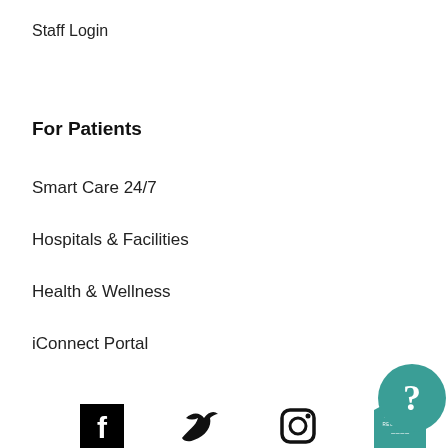Staff Login
For Patients
Smart Care 24/7
Hospitals & Facilities
Health & Wellness
iConnect Portal
[Figure (logo): Social media icons row: Facebook, Twitter, Instagram, and Magnet Recognition logo badge]
[Figure (other): Teal circular help/question mark button]